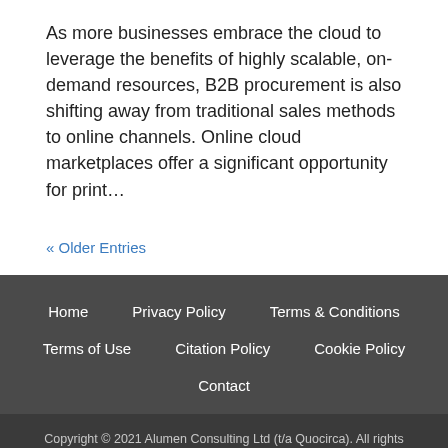As more businesses embrace the cloud to leverage the benefits of highly scalable, on-demand resources, B2B procurement is also shifting away from traditional sales methods to online channels. Online cloud marketplaces offer a significant opportunity for print…
« Older Entries
Home  Privacy Policy  Terms & Conditions  Terms of Use  Citation Policy  Cookie Policy  Contact
Copyright © 2021 Alumen Consulting Ltd (t/a Quocirca). All rights reserved. Company No. 06000958 Registered in England & Wales. Ground Floor, Arena Court, Crown Lane, Maidenhead, SL6 8QZ, UK